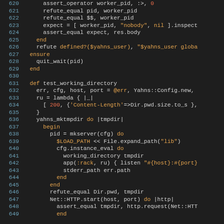[Figure (screenshot): Source code listing in a dark-themed code editor showing Ruby test code, lines 620-649, with syntax highlighting: line numbers in blue, keywords in orange, strings/numbers in orange/red, default text in light gray.]